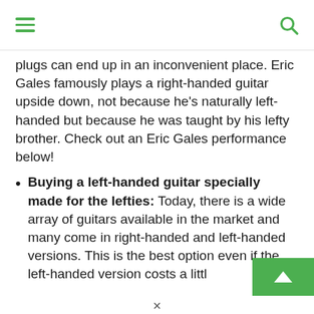plugs can end up in an inconvenient place. Eric Gales famously plays a right-handed guitar upside down, not because he's naturally left-handed but because he was taught by his lefty brother. Check out an Eric Gales performance below!
Buying a left-handed guitar specially made for the lefties: Today, there is a wide array of guitars available in the market and many come in right-handed and left-handed versions. This is the best option even if the left-handed version costs a littl…